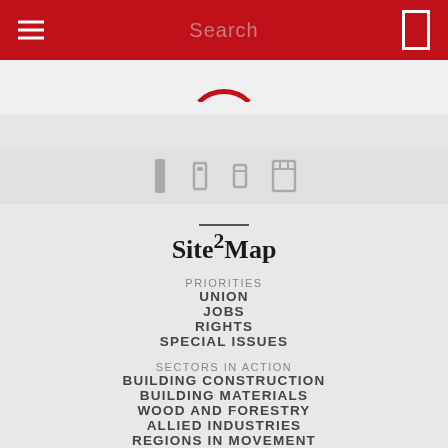Search
[Figure (logo): Red header bar with hamburger menu, Search text, and menu icon. Below: circular arc logo on light grey background. Faded background text area. Social media icons row.]
Site Map
PRIORITIES
UNION
JOBS
RIGHTS
SPECIAL ISSUES
SECTORS IN ACTION
BUILDING CONSTRUCTION
BUILDING MATERIALS
WOOD AND FORESTRY
ALLIED INDUSTRIES
REGIONS IN MOVEMENT